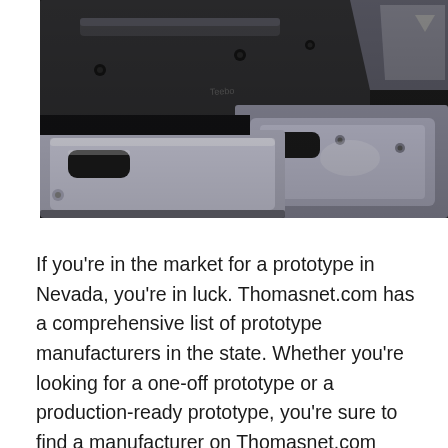[Figure (photo): Close-up photograph of multiple metal injection molds or machined metal parts arranged on a dark surface, showing polished aluminum or steel rectangular molds with recessed cavities and handles.]
If you're in the market for a prototype in Nevada, you're in luck. Thomasnet.com has a comprehensive list of prototype manufacturers in the state. Whether you're looking for a one-off prototype or a production-ready prototype, you're sure to find a manufacturer on Thomasnet.com that can meet your needs.